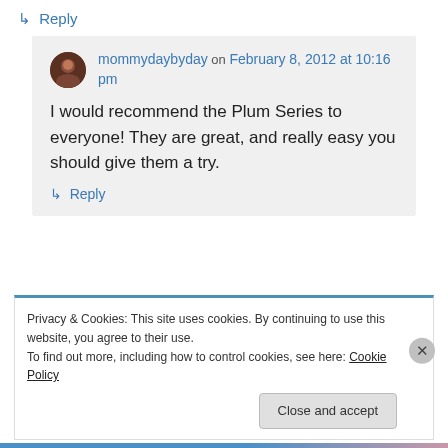↳ Reply
mommydaybyday on February 8, 2012 at 10:16 pm
I would recommend the Plum Series to everyone! They are great, and really easy you should give them a try.
↳ Reply
Privacy & Cookies: This site uses cookies. By continuing to use this website, you agree to their use. To find out more, including how to control cookies, see here: Cookie Policy
Close and accept